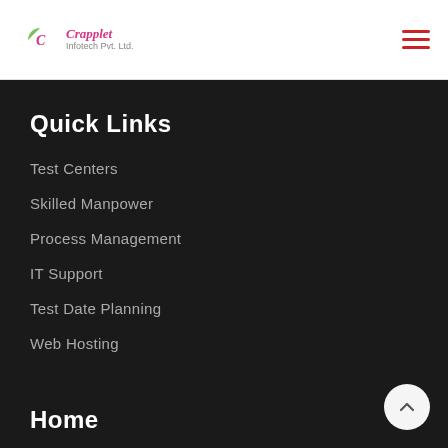Crapplet Infotech Pvt. Ltd.
Quick Links
Test Centers
Skilled Manpower
Process Management
IT Support
Test Date Planning
Web Hosting
Home